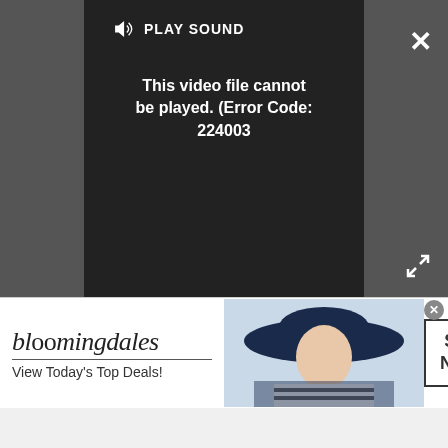[Figure (screenshot): Video player showing error message 'This video file cannot be played. (Error Code: 224003)' with PLAY SOUND control, close button (X), and expand/fullscreen button. Dark gray and black background.]
channels, NASA officials said. Preparations for that spacewalk will begin tomorrow.
Email Sarah Lewin at slewin@space.com or follow her @SarahExplains. Follow us @Spacedotcom, Facebook and Google+. Original article on Space.com.
Join our Space Forums to keep talking space on the
[Figure (screenshot): Bloomingdale's advertisement banner: 'bloomingdales / View Today's Top Deals!' with image of woman in wide-brim hat and 'SHOP NOW >' button.]